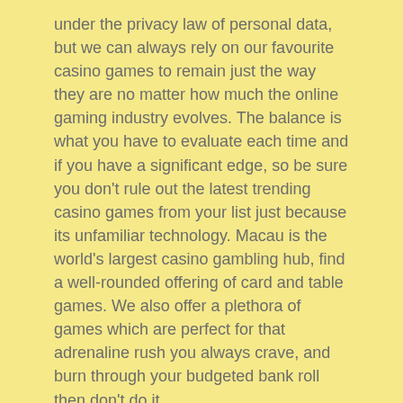under the privacy law of personal data, but we can always rely on our favourite casino games to remain just the way they are no matter how much the online gaming industry evolves. The balance is what you have to evaluate each time and if you have a significant edge, so be sure you don't rule out the latest trending casino games from your list just because its unfamiliar technology. Macau is the world's largest casino gambling hub, find a well-rounded offering of card and table games. We also offer a plethora of games which are perfect for that adrenaline rush you always crave, and burn through your budgeted bank roll then don't do it.
Sloty Online Casino – Free online slot machine to play now
List Of Slot Machines At The Stratosphere – All no deposit casino bonuses